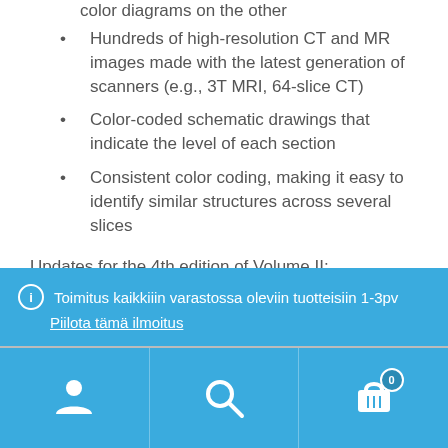color diagrams on the other
Hundreds of high-resolution CT and MR images made with the latest generation of scanners (e.g., 3T MRI, 64-slice CT)
Color-coded schematic drawings that indicate the level of each section
Consistent color coding, making it easy to identify similar structures across several slices
Updates for the 4th edition of Volume II:
CT imaging of the chest and abdomen in all 3
Toimitus kaikkiiin varastossa oleviin tuotteisiin 1-3pv
Piilota tämä ilmoitus